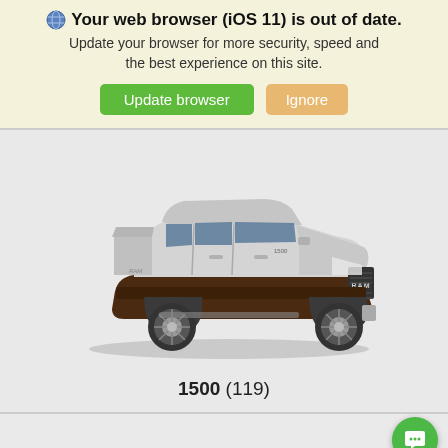🌐 Your web browser (iOS 11) is out of date. Update your browser for more security, speed and the best experience on this site. [Update browser] [Ignore]
[Figure (photo): RAM 1500 pickup truck, silver and dark brown two-tone, crew cab, viewed from driver-side front three-quarter angle, chrome wheels, shown on light gray background]
1500 (119)